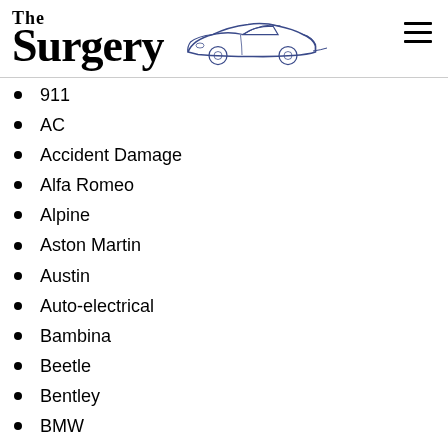The Surgery
911
AC
Accident Damage
Alfa Romeo
Alpine
Aston Martin
Austin
Auto-electrical
Bambina
Beetle
Bentley
BMW
Boomrock
Buick
C10
Cadillac
Capri Club of NZ